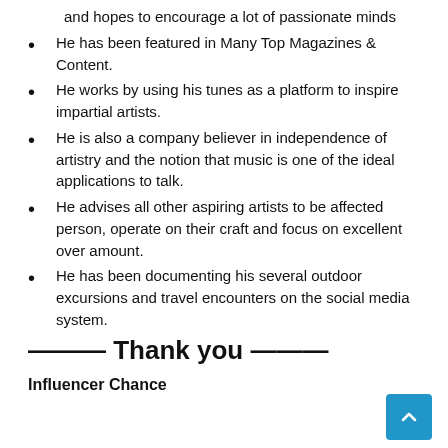and hopes to encourage a lot of passionate minds
He has been featured in Many Top Magazines & Content.
He works by using his tunes as a platform to inspire impartial artists.
He is also a company believer in independence of artistry and the notion that music is one of the ideal applications to talk.
He advises all other aspiring artists to be affected person, operate on their craft and focus on excellent over amount.
He has been documenting his several outdoor excursions and travel encounters on the social media system.
——— Thank you ———
Influencer Chance